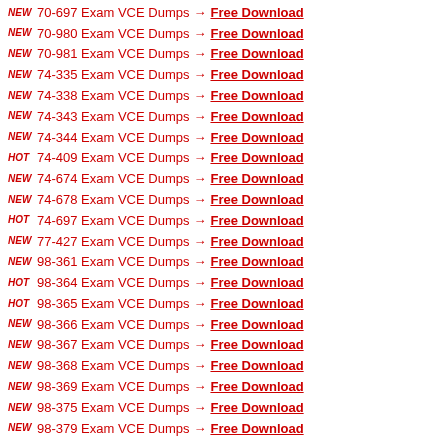NEW 70-697 Exam VCE Dumps → Free Download
NEW 70-980 Exam VCE Dumps → Free Download
NEW 70-981 Exam VCE Dumps → Free Download
NEW 74-335 Exam VCE Dumps → Free Download
NEW 74-338 Exam VCE Dumps → Free Download
NEW 74-343 Exam VCE Dumps → Free Download
NEW 74-344 Exam VCE Dumps → Free Download
HOT 74-409 Exam VCE Dumps → Free Download
NEW 74-674 Exam VCE Dumps → Free Download
NEW 74-678 Exam VCE Dumps → Free Download
HOT 74-697 Exam VCE Dumps → Free Download
NEW 77-427 Exam VCE Dumps → Free Download
NEW 98-361 Exam VCE Dumps → Free Download
HOT 98-364 Exam VCE Dumps → Free Download
HOT 98-365 Exam VCE Dumps → Free Download
NEW 98-366 Exam VCE Dumps → Free Download
NEW 98-367 Exam VCE Dumps → Free Download
NEW 98-368 Exam VCE Dumps → Free Download
NEW 98-369 Exam VCE Dumps → Free Download
NEW 98-375 Exam VCE Dumps → Free Download
NEW 98-379 Exam VCE Dumps → Free Download